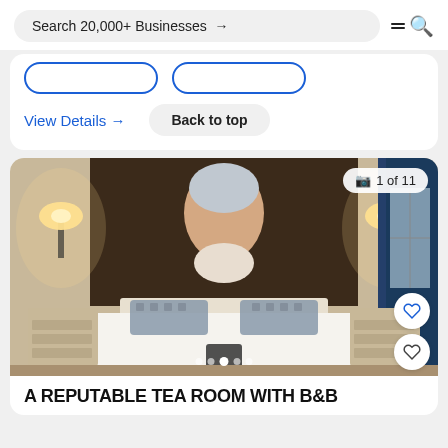Search 20,000+ Businesses →
View Details →
Back to top
[Figure (photo): Hotel bedroom with a large portrait painting on the wall above the headboard, two wall sconces with warm lighting, white bedding with grey pillows, wooden nightstands, and blue curtains on the right. Badge shows '1 of 11'.]
A REPUTABLE TEA ROOM WITH B&B